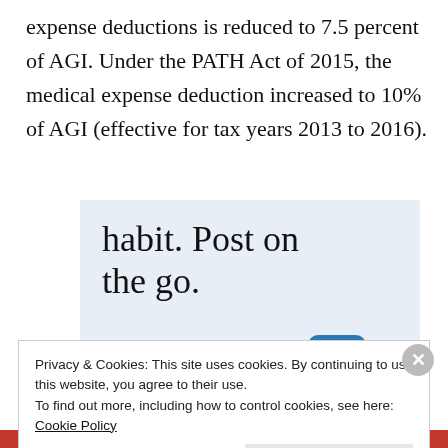expense deductions is reduced to 7.5 percent of AGI. Under the PATH Act of 2015, the medical expense deduction increased to 10% of AGI (effective for tax years 2013 to 2016).
[Figure (other): WordPress app advertisement banner with text 'habit. Post on the go.' and 'GET THE APP' call to action with WordPress logo]
Privacy & Cookies: This site uses cookies. By continuing to use this website, you agree to their use.
To find out more, including how to control cookies, see here: Cookie Policy